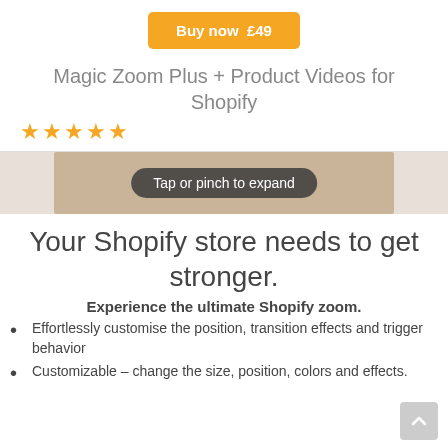Buy now  £49
Magic Zoom Plus + Product Videos for Shopify
★★★★★
[Figure (photo): Product image area showing a tan/beige leather item with 'Tap or pinch to expand' overlay badge]
Your Shopify store needs to get stronger.
Experience the ultimate Shopify zoom.
Effortlessly customise the position, transition effects and trigger behavior
Customizable – change the size, position, colors and effects.